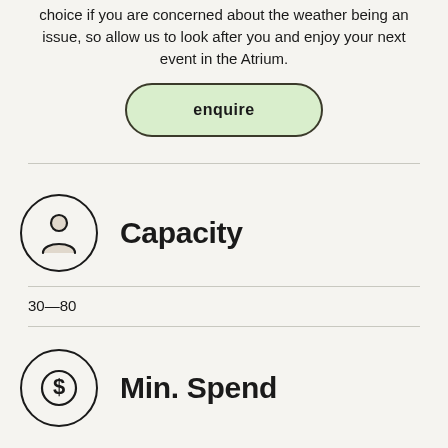choice if you are concerned about the weather being an issue, so allow us to look after you and enjoy your next event in the Atrium.
enquire
[Figure (illustration): Person/user icon inside a circle]
Capacity
30—80
[Figure (illustration): Dollar sign icon inside a circle]
Min. Spend